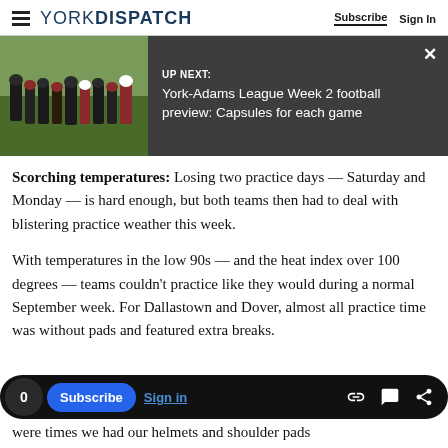YORK DISPATCH — Subscribe | Sign In
[Figure (screenshot): UP NEXT banner with football game photo on left and dark overlay on right reading: UP NEXT: York-Adams League Week 2 football preview: Capsules for each game]
Scorching temperatures: Losing two practice days — Saturday and Monday — is hard enough, but both teams then had to deal with blistering practice weather this week.
With temperatures in the low 90s — and the heat index over 100 degrees — teams couldn't practice like they would during a normal September week. For Dallastown and Dover, almost all practice time was without pads and featured extra breaks.
0 Subscribe Sign in [icons: link, comment, share]
were times we had our helmets and shoulder pads